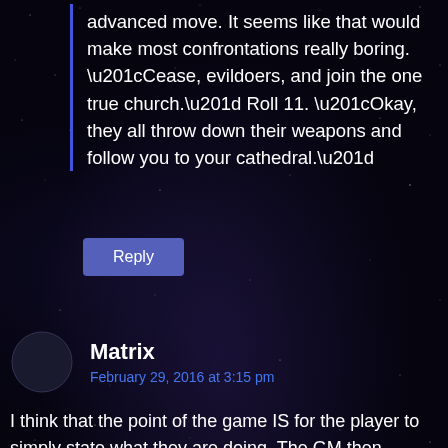advanced move. It seems like that would make most confrontations really boring. “Cease, evildoers, and join the one true church.” Roll 11. “Okay, they all throw down their weapons and follow you to your cathedral.”
Reply
Matrix
February 29, 2016 at 3:15 pm
I think that the point of the game IS for the player to simply state what they are doing. The GM then